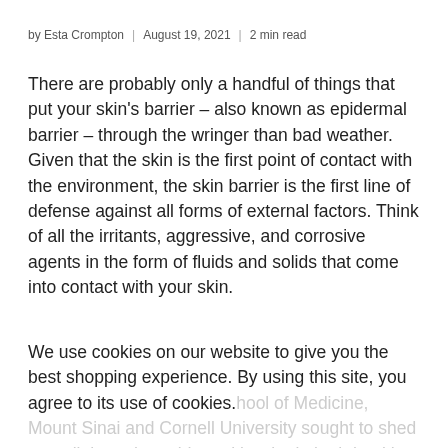by Esta Crompton | August 19, 2021 | 2 min read
There are probably only a handful of things that put your skin's barrier – also known as epidermal barrier – through the wringer than bad weather. Given that the skin is the first point of contact with the environment, the skin barrier is the first line of defense against all forms of external factors. Think of all the irritants, aggressive, and corrosive agents in the form of fluids and solids that come into contact with your skin.
We use cookies on our website to give you the best shopping experience. By using this site, you agree to its use of cookies. hool of Medicine, Mount Sinai and Cornell University sought to shed more light to the epidermal barrier in both healthy and compromised skin. One of the key pointers noted in the